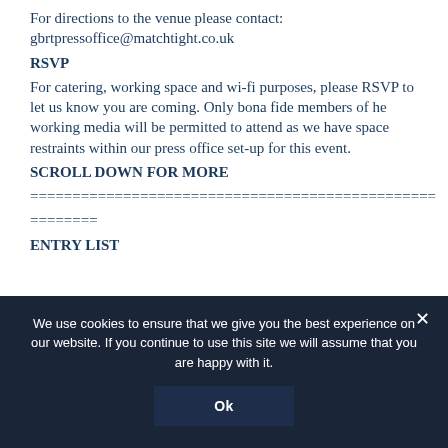For directions to the venue please contact: gbrtpressoffice@matchtight.co.uk
RSVP
For catering, working space and wi-fi purposes, please RSVP to let us know you are coming. Only bona fide members of he working media will be permitted to attend as we have space restraints within our press office set-up for this event.
SCROLL DOWN FOR MORE
================================================
========
ENTRY LIST
We use cookies to ensure that we give you the best experience on our website. If you continue to use this site we will assume that you are happy with it.